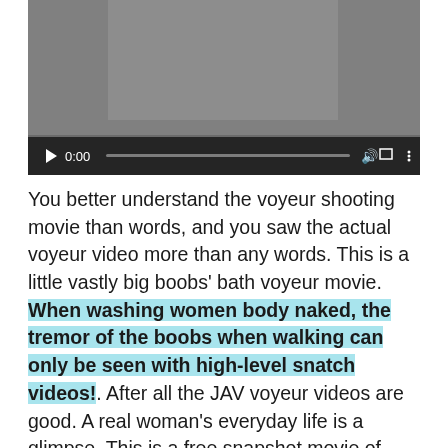[Figure (screenshot): Video player screenshot showing a blurred/obscured video thumbnail with playback controls including a play button, 0:00 timestamp, progress bar, volume icon, fullscreen icon, and more options icon on a dark control bar.]
You better understand the voyeur shooting movie than words, and you saw the actual voyeur video more than any words. This is a little vastly big boobs' bath voyeur movie. When washing women body naked, the tremor of the boobs when walking can only be seen with high-level snatch videos!. After all the JAV voyeur videos are good. A real woman's everyday life is a glimpse. This is a free snapshot movie of Punyo in the public bath. As a result, playback time is short and picture quality is bad,